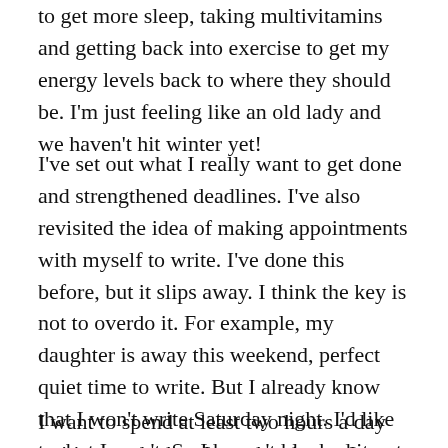to get more sleep, taking multivitamins and getting back into exercise to get my energy levels back to where they should be. I'm just feeling like an old lady and we haven't hit winter yet!
I've set out what I really want to get done and strengthened deadlines. I've also revisited the idea of making appointments with myself to write. I've done this before, but it slips away. I think the key is not to overdo it. For example, my daughter is away this weekend, perfect quiet time to write. But I already know that I won't write Saturday night. I'd like to, but I won't. So I haven't blocked it out for writing on my schedule, instead I'm going to take some quiet time with a movie I've been wanting to watch and an early night so that I can make the most of Sunday.
I want to spend at least two hours a day writing; and when I got the chance I can very easily disappear into